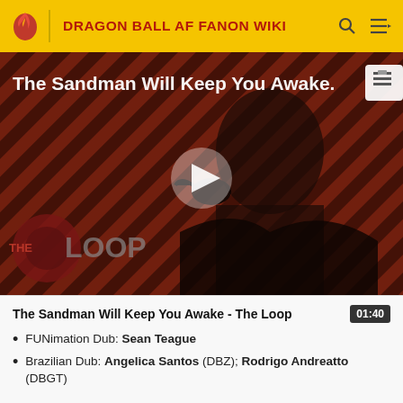DRAGON BALL AF FANON WIKI
[Figure (screenshot): Video thumbnail showing a dark-robed figure against diagonal stripe background with THE LOOP watermark and play button overlay. Title text reads: The Sandman Will Keep You Awake.]
The Sandman Will Keep You Awake - The Loop   01:40
FUNimation Dub: Sean Teague
Brazilian Dub: Angelica Santos (DBZ); Rodrigo Andreatto (DBGT)